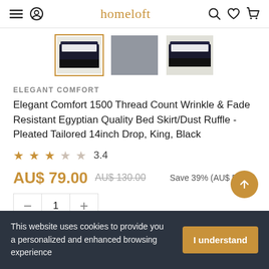homeloft
[Figure (screenshot): Three product thumbnail images of a bed skirt/dust ruffle product; the first is selected with a gold border, the second shows fabric texture, the third shows another bed angle.]
ELEGANT COMFORT
Elegant Comfort 1500 Thread Count Wrinkle & Fade Resistant Egyptian Quality Bed Skirt/Dust Ruffle - Pleated Tailored 14inch Drop, King, Black
3.4
AU$ 79.00  AU$ 130.00  Save 39% (AU$ 51.00)
1
This website uses cookies to provide you a personalized and enhanced browsing experience